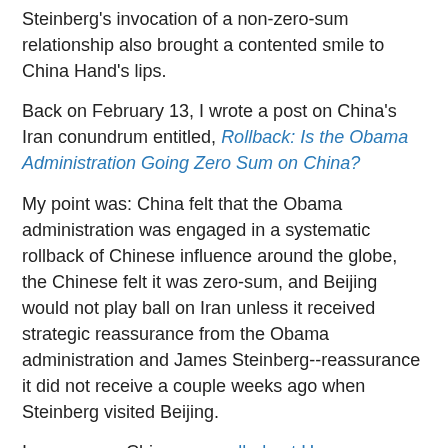Steinberg's invocation of a non-zero-sum relationship also brought a contented smile to China Hand's lips.
Back on February 13, I wrote a post on China's Iran conundrum entitled, Rollback: Is the Obama Administration Going Zero Sum on China?
My point was: China felt that the Obama administration was engaged in a systematic rollback of Chinese influence around the globe, the Chinese felt it was zero-sum, and Beijing would not play ball on Iran unless it received strategic reassurance from the Obama administration and James Steinberg--reassurance it did not receive a couple weeks ago when Steinberg visited Beijing.
In response, China even rolled out Henry Kissinger to emphasize its desire that the traditional bases of U.S.-China relations be reaffirmed.
Based on the conspicuous play given to Steinberg's remarks and Qin's reply, the fat lady has definitely sung and Beijing believes a reset has finally taken place.